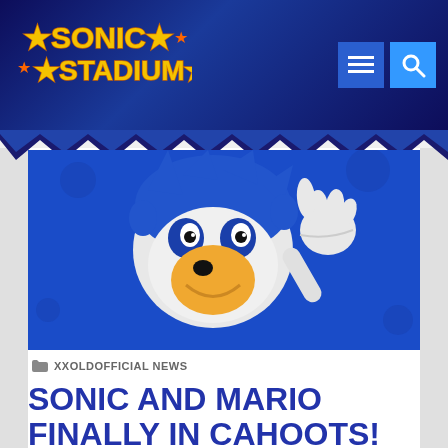Sonic Stadium
[Figure (illustration): Sonic the Hedgehog character close-up face with raised index finger on blue background]
XXOLDOFFICIAL NEWS
SONIC AND MARIO FINALLY IN CAHOOTS!